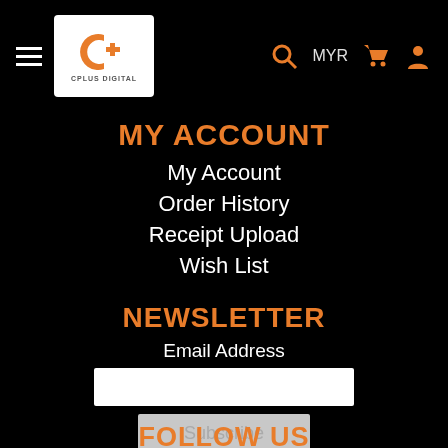[Figure (logo): CPlus Digital logo — orange C with plus symbol, white background box with brand name text below]
MY ACCOUNT
My Account
Order History
Receipt Upload
Wish List
NEWSLETTER
Email Address
FOLLOW US
[Figure (infographic): Social media icons: Facebook, YouTube, Instagram — white circles with white icons]